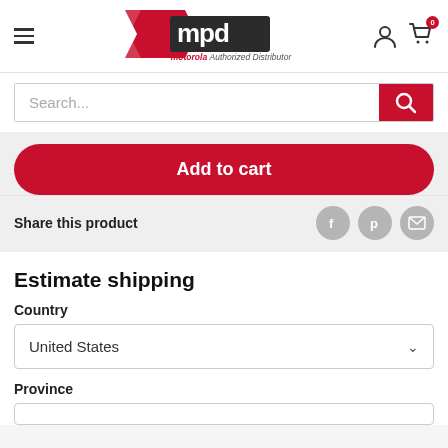[Figure (logo): MPD Mobile Parts & Devices logo with red chevron shape and motorola Authorized Distributor text below]
Search...
Add to cart
Share this product
Estimate shipping
Country
United States
Province